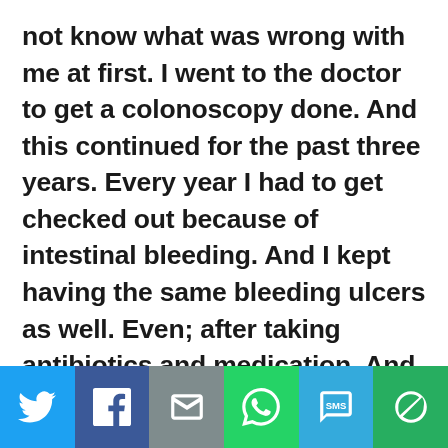not know what was wrong with me at first. I went to the doctor to get a colonoscopy done. And this continued for the past three years. Every year I had to get checked out because of intestinal bleeding. And I kept having the same bleeding ulcers as well. Even; after taking antibiotics and medication. And to no avail, that did not make a bit of difference.
[Figure (infographic): Social share bar with six buttons: Twitter (blue), Facebook (dark blue), Email (gray), WhatsApp (green), SMS (light blue), Other/share (dark green)]